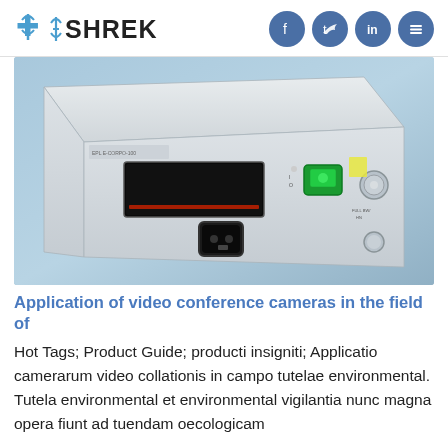SHREK
[Figure (photo): White medical/electronic device (video conference camera unit) on a blue background, showing front panel with display screen, green power switch, and connectors.]
Application of video conference cameras in the field of
Hot Tags; Product Guide; producti insigniti; Applicatio camerarum video collationis in campo tutelae environmental. Tutela environmental et environmental vigilantia nunc magna opera fiunt ad tuendam oecologicam